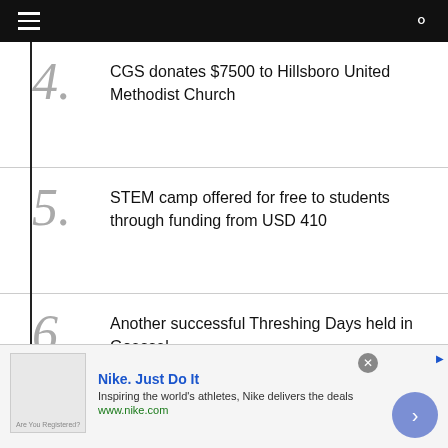Navigation header with menu and search icons
4. CGS donates $7500 to Hillsboro United Methodist Church
5. STEM camp offered for free to students through funding from USD 410
6. Another successful Threshing Days held in Goessel
7. HES Carnival and Booster Club Fall Sports
infolinks | Nike. Just Do It — Inspiring the world's athletes, Nike delivers the deals — www.nike.com